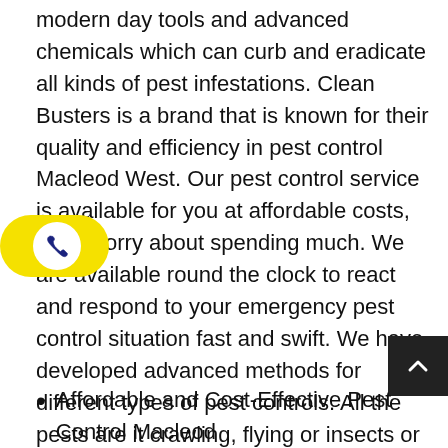modern day tools and advanced chemicals which can curb and eradicate all kinds of pest infestations. Clean Busters is a brand that is known for their quality and efficiency in pest control Macleod West. Our pest control service is available for you at affordable costs, don't worry about spending much. We are available round the clock to react and respond to your emergency pest control situation fast and swift. We have developed advanced methods for different types of pest controls. All the pests are it crawling, flying or insects or bugs can be exterminated by our staff of professionals. We would like you to give us a chance and avail the benefits of our services for pest control Macleod West.
[Figure (other): Yellow phone widget button with white circle containing a dark blue phone handset icon]
[Figure (other): Black back-to-top button with white upward chevron arrow in bottom right corner]
Affordable and Cost-Effective Pest Control Macleod